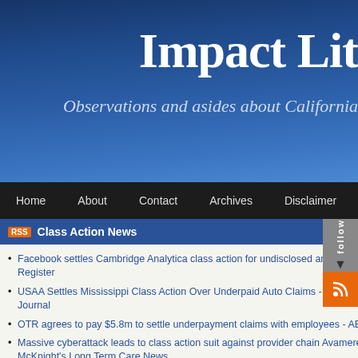Impact Lit
Observations and asides about California
Home | About | Contact | Archives | Disclaimer
Class Action News
Facebook settles Cambridge Analytica class action for undisclosed amount - The Register
USAA Settles Mississippi Class Action Over Underpaid Auto Claims - Insurance Journal
OTR agrees to pay $5.8m to settle underpayment claims with employees - ABC News
Massive cyberattack leads to class action suit against provider chain Avamere - McKnight's Long Term Care News
COUPANG ALERT: Bragar Eagel & Squire, P.C. Announces that a Class Action Lawsuit Has Been Filed Against Coupang, Inc. and Encourages Investors to Contact the Firm - Business Wire
CO-DIAGNOSTICS, INC. CLASS
Articles from Augus
Avery v. Integrated H... California Appellate Cou... Compel Arbitration
August 6, 2013
The California Court of Appeal recently a... Healthcare's petition to compel arbitration... G046202, ___ Cal. App. 4th ___ (Jun. 27... narrow holding, the unanimous three-judg... hour class action will not be able to seize... evidence amounting to little more than a... op. at 25. On July 23, 2013, nearly a...